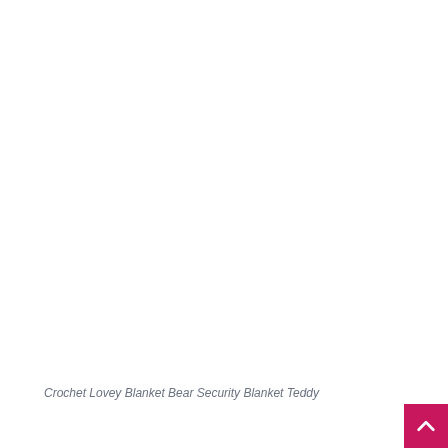Crochet Lovey Blanket Bear Security Blanket Teddy
[Figure (other): Back-to-top button: a pink/magenta square with a white upward-pointing chevron arrow in the bottom-right corner of the page]